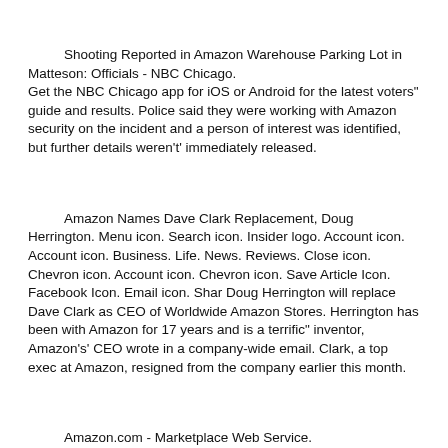access to quantum computers from the likes of IonQ, Oxford Quantum Circuits, Rigetti and D-Wave, as well as other software tools and simulators.
Shooting Reported in Amazon Warehouse Parking Lot in Matteson: Officials - NBC Chicago.
Get the NBC Chicago app for iOS or Android for the latest voters" guide and results. Police said they were working with Amazon security on the incident and a person of interest was identified, but further details weren't' immediately released.
Amazon Names Dave Clark Replacement, Doug Herrington. Menu icon. Search icon. Insider logo. Account icon. Account icon. Business. Life. News. Reviews. Close icon. Chevron icon. Account icon. Chevron icon. Save Article Icon. Facebook Icon. Email icon. Shar Doug Herrington will replace Dave Clark as CEO of Worldwide Amazon Stores. Herrington has been with Amazon for 17 years and is a terrific" inventor, Amazon's' CEO wrote in a company-wide email. Clark, a top exec at Amazon, resigned from the company earlier this month.
Amazon.com - Marketplace Web Service.
This requires you to register as a developer.